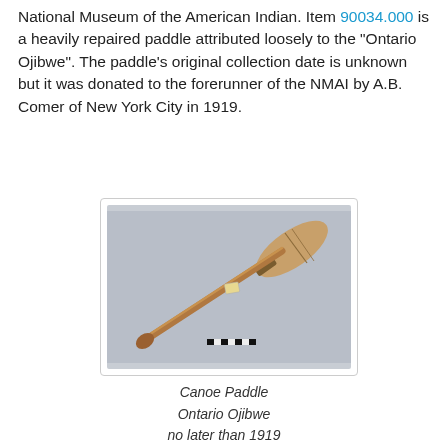National Museum of the American Indian. Item 90034.000 is a heavily repaired paddle attributed loosely to the "Ontario Ojibwe". The paddle's original collection date is unknown but it was donated to the forerunner of the NMAI by A.B. Comer of New York City in 1919.
[Figure (photo): Photograph of a canoe paddle from the Ontario Ojibwe collection, shown diagonally against a grey background with a measurement scale bar.]
Canoe Paddle
Ontario Ojibwe
no later than 1919
Barcode: 090034.000
Catalog No. 9/34
Source Link